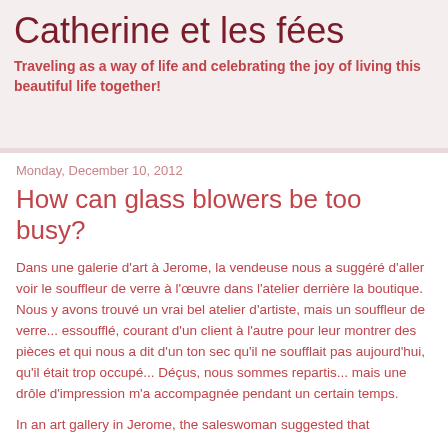Catherine et les fées
Traveling as a way of life and celebrating the joy of living this beautiful life together!
Monday, December 10, 2012
How can glass blowers be too busy?
Dans une galerie d'art à Jerome, la vendeuse nous a suggéré d'aller voir le souffleur de verre à l'œuvre dans l'atelier derrière la boutique. Nous y avons trouvé un vrai bel atelier d'artiste, mais un souffleur de verre... essoufflé, courant d'un client à l'autre pour leur montrer des pièces et qui nous a dit d'un ton sec qu'il ne soufflait pas aujourd'hui, qu'il était trop occupé... Déçus, nous sommes repartis... mais une drôle d'impression m'a accompagnée pendant un certain temps.
In an art gallery in Jerome, the saleswoman suggested that